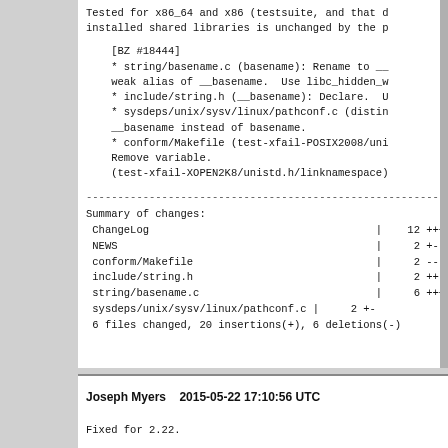Tested for x86_64 and x86 (testsuite, and that d installed shared libraries is unchanged by the p
[BZ #18444]
* string/basename.c (basename): Rename to __
weak alias of __basename.  Use libc_hidden_w
* include/string.h (__basename): Declare.  U
* sysdeps/unix/sysv/linux/pathconf.c (distin
__basename instead of basename.
* conform/Makefile (test-xfail-POSIX2008/uni
Remove variable.
(test-xfail-XOPEN2K8/unistd.h/linknamespace)
------------------------------------------------------------------------
Summary of changes:
 ChangeLog                                    |    12 +++++++++
 NEWS                                         |     2 +-
 conform/Makefile                             |     2 --
 include/string.h                             |     2 ++
 string/basename.c                            |     6 ++++--
 sysdeps/unix/sysv/linux/pathconf.c |     2 +-
 6 files changed, 20 insertions(+), 6 deletions(-)
Joseph Myers    2015-05-22 17:10:56 UTC
Fixed for 2.22.